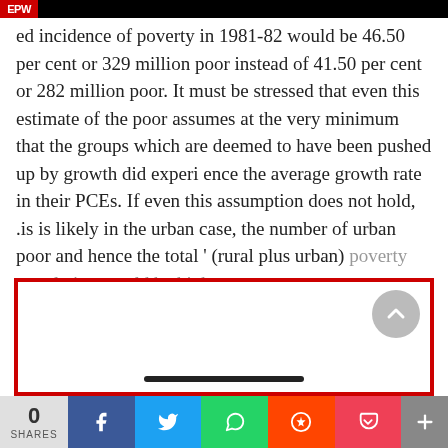EPW
ed incidence of poverty in 1981-82 would be 46.50 per cent or 329 million poor instead of 41.50 per cent or 282 million poor. It must be stressed that even this estimate of the poor assumes at the very minimum that the groups which are deemed to have been pushed up by growth did experi ence the average growth rate in their PCEs. If even this assumption does not hold, .is is likely in the urban case, the number of urban poor and hence the total ' (rural plus urban) poverty population would be higher.
[Figure (screenshot): Red-bordered box with a scroll-to-top circular button and a device navigation bar inside]
0 SHARES  [Facebook] [Twitter] [WhatsApp] [Reddit] [Pocket] [More]